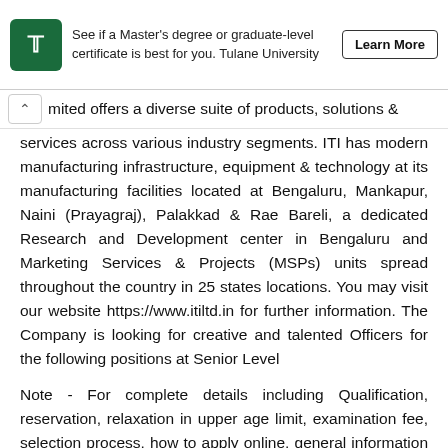[Figure (logo): Tulane University advertisement banner with green shield logo, text 'See if a Master’s degree or graduate-level certificate is best for you. Tulane University', and a 'Learn More' button]
mited offers a diverse suite of products, solutions & services across various industry segments. ITI has modern manufacturing infrastructure, equipment & technology at its manufacturing facilities located at Bengaluru, Mankapur, Naini (Prayagraj), Palakkad & Rae Bareli, a dedicated Research and Development center in Bengaluru and Marketing Services & Projects (MSPs) units spread throughout the country in 25 states locations. You may visit our website https://www.itiltd.in for further information. The Company is looking for creative and talented Officers for the following positions at Senior Level
Note - For complete details including Qualification, reservation, relaxation in upper age limit, examination fee, selection process, how to apply online, general information & instructions and other details do check official notification for complete details and do apply via proper channel only. Qualification, Salary, Age Limit, No of post